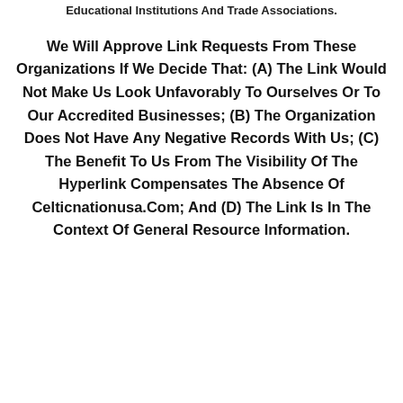Educational Institutions And Trade Associations.
We Will Approve Link Requests From These Organizations If We Decide That: (A) The Link Would Not Make Us Look Unfavorably To Ourselves Or To Our Accredited Businesses; (B) The Organization Does Not Have Any Negative Records With Us; (C) The Benefit To Us From The Visibility Of The Hyperlink Compensates The Absence Of Celticnationusa.Com; And (D) The Link Is In The Context Of General Resource Information.